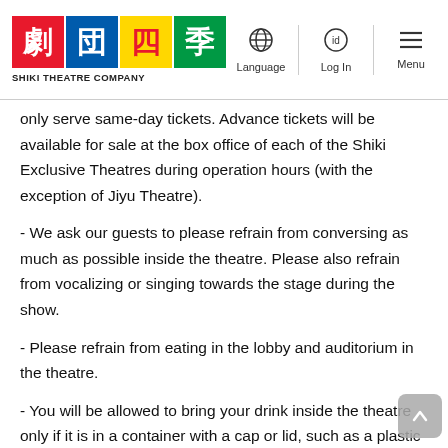SHIKI THEATRE COMPANY — Language, Log In, Menu navigation
only serve same-day tickets. Advance tickets will be available for sale at the box office of each of the Shiki Exclusive Theatres during operation hours (with the exception of Jiyu Theatre).
- We ask our guests to please refrain from conversing as much as possible inside the theatre. Please also refrain from vocalizing or singing towards the stage during the show.
- Please refrain from eating in the lobby and auditorium in the theatre.
- You will be allowed to bring your drink inside the theatre only if it is in a container with a cap or lid, such as a plastic bottle. For the time being, guests will be allowed to drink inside the auditorium, except during the show. Please be mindful of the other guests around you, and avoid facing towards someone when you do take a drink.
- Please bring your own hand towel or handkerchief to use in the restroom, as we will suspend the use of hand dryers.
- Theatre facilities are obligated to be fully equipped with air conditioning infrastructures according to laws and regulations, and utilize air conditioning systems which absorb sufficient external air into the theatre.